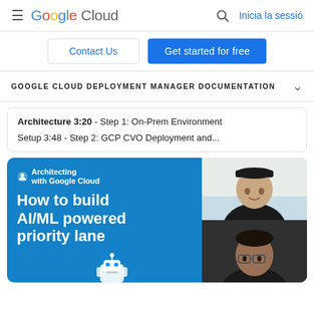Google Cloud  Inicia la sessió
Contact Us  Get started for free
GOOGLE CLOUD DEPLOYMENT MANAGER DOCUMENTATION
Architecture 3:20 - Step 1: On-Prem Environment
Setup 3:48 - Step 2: GCP CVO Deployment and...
[Figure (screenshot): Promotional banner for 'Architecting with Google Cloud' - How to build AI/ML powered priority lane, with two person video thumbnails on right and a robot icon]